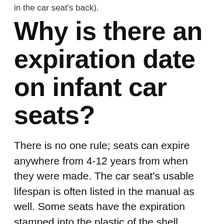in the car seat's back).
Why is there an expiration date on infant car seats?
There is no one rule; seats can expire anywhere from 4-12 years from when they were made. The car seat's usable lifespan is often listed in the manual as well. Some seats have the expiration stamped into the plastic of the shell saying, “DO NOT USE AFTER” and then a date.
What is the law for children’s car seats?